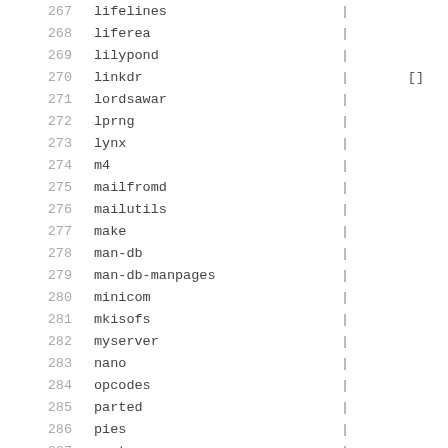| # | name | | | value |
| --- | --- | --- | --- |
| 267 | lifelines | | |  |
| 268 | liferea | | |  |
| 269 | lilypond | | |  |
| 270 | linkdr | | | [] |
| 271 | lordsawar | | |  |
| 272 | lprng | | |  |
| 273 | lynx | | |  |
| 274 | m4 | | |  |
| 275 | mailfromd | | |  |
| 276 | mailutils | | |  |
| 277 | make | | |  |
| 278 | man-db | | |  |
| 279 | man-db-manpages | | |  |
| 280 | minicom | | |  |
| 281 | mkisofs | | |  |
| 282 | myserver | | |  |
| 283 | nano | | |  |
| 284 | opcodes | | |  |
| 285 | parted | | |  |
| 286 | pies | | |  |
| 287 | popt | | |  |
| 288 | ... | | |  |